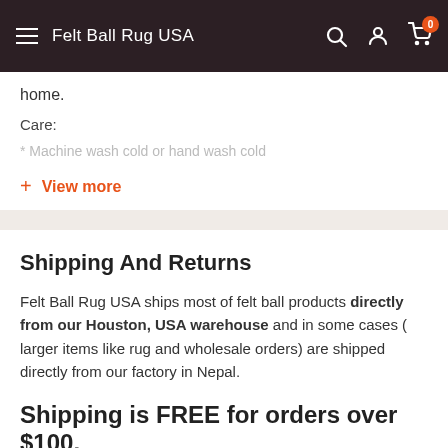Felt Ball Rug USA
home.
Care:
* Machine wash cold or hand wash cold
+ View more
Shipping And Returns
Felt Ball Rug USA ships most of felt ball products directly from our Houston, USA warehouse and in some cases ( larger items like rug and wholesale orders) are shipped directly from our factory in Nepal.
Shipping is FREE for orders over $100.